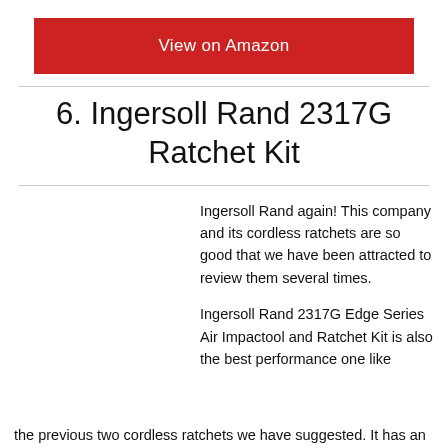View on Amazon
6. Ingersoll Rand 2317G Ratchet Kit
Ingersoll Rand again! This company and its cordless ratchets are so good that we have been attracted to review them several times.
Ingersoll Rand 2317G Edge Series Air Impactool and Ratchet Kit is also the best performance one like the previous two cordless ratchets we have suggested. It has an